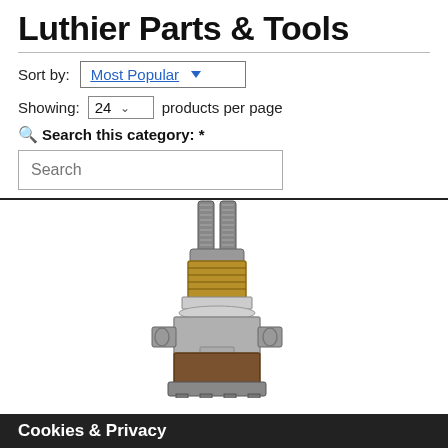Luthier Parts & Tools
Sort by: Most Popular
Showing: 24 products per page
Search this category: *
Search
[Figure (photo): A guitar potentiometer (pot) component — a dual-shaft push-pull potentiometer with knurled metal shafts, brass threaded bushing with nut and washer, metal body with connection tabs, and a brown/tan plastic switch section at the bottom.]
Cookies & Privacy